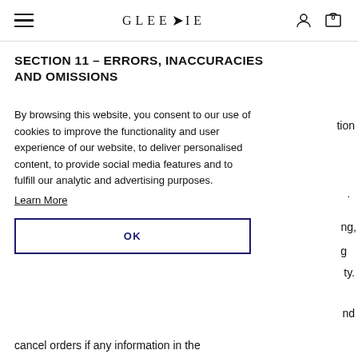GLEEVIE — navigation bar with hamburger menu, logo, user icon, cart (0)
SECTION 11 – ERRORS, INACCURACIES AND OMISSIONS
By browsing this website, you consent to our use of cookies to improve the functionality and user experience of our website, to deliver personalised content, to provide social media features and to fulfill our analytic and advertising purposes.
Learn More
OK
cancel orders if any information in the